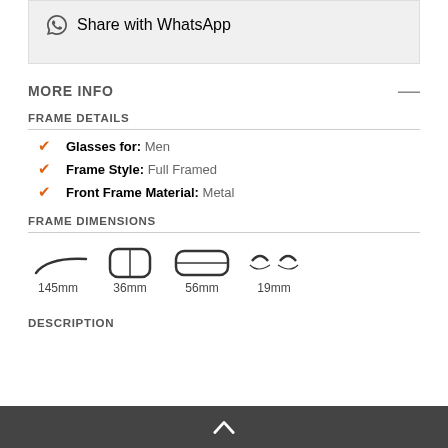Share with WhatsApp
MORE INFO
FRAME DETAILS
Glasses for: Men
Frame Style: Full Framed
Front Frame Material: Metal
FRAME DIMENSIONS
[Figure (illustration): Frame dimension icons: temple arm (145mm), lens height (36mm), lens width (56mm), bridge (19mm)]
DESCRIPTION
^